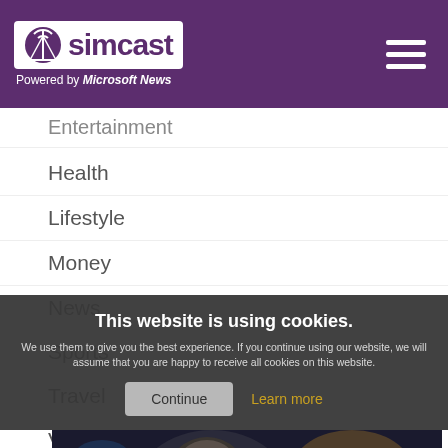simcast — Powered by Microsoft News
Entertainment
Health
Lifestyle
Money
News
Sports
Travel
Videos
This website is using cookies. We use them to give you the best experience. If you continue using our website, we will assume that you are happy to receive all cookies on this website.
[Figure (photo): Photo of Gary Busey at a convention]
Gary Busey denies allegations of sex offences at recent convention as 'all false'